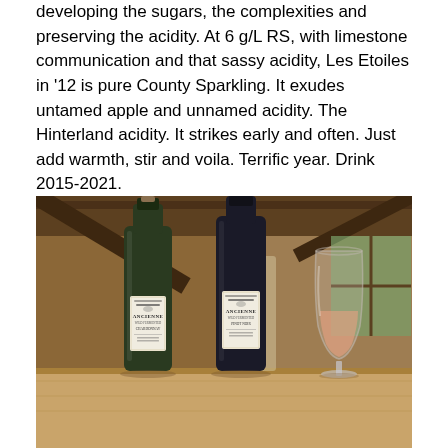developing the sugars, the complexities and preserving the acidity. At 6 g/L RS, with limestone communication and that sassy acidity, Les Etoiles in '12 is pure County Sparkling. It exudes untamed apple and unnamed acidity. The Hinterland acidity. It strikes early and often. Just add warmth, stir and voila. Terrific year. Drink 2015-2021.
Tasted October 2015  @hinterlandwine
[Figure (photo): Two dark wine bottles labeled 'ANCIENNE' (Chardonnay and Pinot Noir, Wild Fermented) standing on a wooden table with a wine glass containing rosé wine to the right, set inside a rustic barn-like interior with wooden beams.]